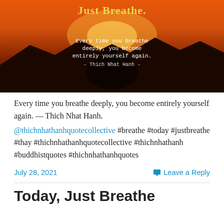[Figure (illustration): Inspirational image with a silhouette of a person meditating against a dramatic orange sunset sky and mountains. Yellow bold text at top reads 'Just Breathe.' White typewriter-font text in center reads 'Every time you breathe deeply, you become entirely yourself again. - Thich Nhat Hanh -']
Every time you breathe deeply, you become entirely yourself again. — Thich Nhat Hanh. @thichnhathanhquotecollective #breathe #today #justbreathe #thay #thichnhathanhquotecollective #thichnhathanh #buddhistquotes #thichnhathanhquotes
July 28, 2021   Leave a Reply
Today, Just Breathe